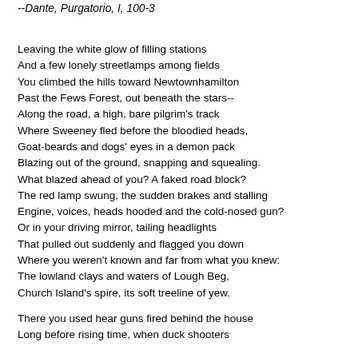--Dante, Purgatorio, I, 100-3
Leaving the white glow of filling stations
And a few lonely streetlamps among fields
You climbed the hills toward Newtownhamilton
Past the Fews Forest, out beneath the stars--
Along the road, a high, bare pilgrim's track
Where Sweeney fled before the bloodied heads,
Goat-beards and dogs' eyes in a demon pack
Blazing out of the ground, snapping and squealing.
What blazed ahead of you? A faked road block?
The red lamp swung, the sudden brakes and stalling
Engine, voices, heads hooded and the cold-nosed gun?
Or in your driving mirror, tailing headlights
That pulled out suddenly and flagged you down
Where you weren't known and far from what you knew:
The lowland clays and waters of Lough Beg,
Church Island's spire, its soft treeline of yew.
There you used hear guns fired behind the house
Long before rising time, when duck shooters